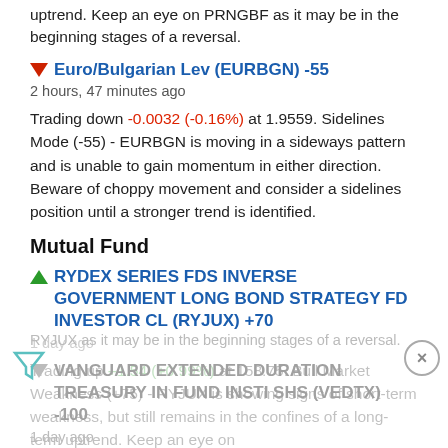uptrend. Keep an eye on PRNGBF as it may be in the beginning stages of a reversal.
Euro/Bulgarian Lev (EURBGN) -55
2 hours, 47 minutes ago
Trading down -0.0032 (-0.16%) at 1.9559. Sidelines Mode (-55) - EURBGN is moving in a sideways pattern and is unable to gain momentum in either direction. Beware of choppy movement and consider a sidelines position until a stronger trend is identified.
Mutual Fund
RYDEX SERIES FDS INVERSE GOVERNMENT LONG BOND STRATEGY FD INVESTOR CL (RYJUX) +70
1 day ago
Trading up +1.54 (+0.99%) at 158.75. Bull Market Weakness (+75) - RYJUX is showing signs of short-term weakness, but still remains in the confines of a long-term uptrend. Keep an eye on RYJUX as it may be in the beginning stages of a reversal.
VANGUARD EXTENDED DURATION TREASURY IN FUND INSTI SHS (VEDTX) -100
1 day ago